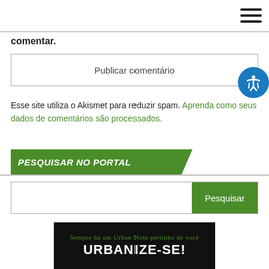[Figure (other): Hamburger menu icon (three horizontal lines) in top right corner]
comentar.
Publicar comentário
Esse site utiliza o Akismet para reduzir spam. Aprenda como seus dados de comentários são processados.
PESQUISAR NO PORTAL
Pesquisar
[Figure (other): Urbanize-se banner with dark background showing script text 'Sempre ha um Urban Note pertinho de você' and bold text 'URBANIZE-SE!']